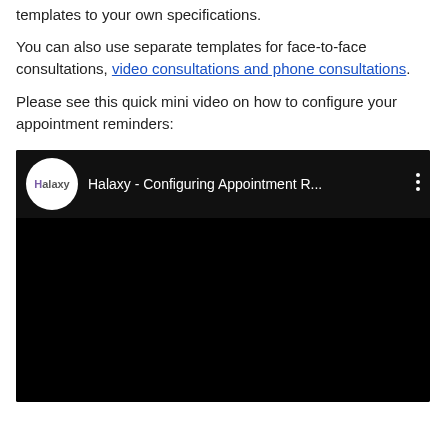templates to your own specifications.
You can also use separate templates for face-to-face consultations, video consultations and phone consultations.
Please see this quick mini video on how to configure your appointment reminders:
[Figure (screenshot): YouTube video embed showing a Halaxy channel video titled 'Halaxy - Configuring Appointment R...' with a black video area and channel avatar showing the Halaxy logo.]